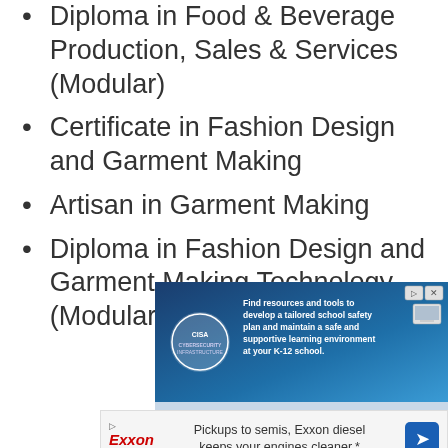Diploma in Food & Beverage Production, Sales & Services (Modular)
Certificate in Fashion Design and Garment Making
Artisan in Garment Making
Diploma in Fashion Design and Garment Making Technology (Modular)
[Figure (infographic): CISA advertisement: Find resources and tools to develop a tailored school safety plan and maintain a safe and supportive learning environment at your K-12 school. Visit www.cisa.gov/schools.]
[Figure (infographic): Exxon advertisement: Pickups to semis, Exxon diesel keeps your engines cleaner.*]